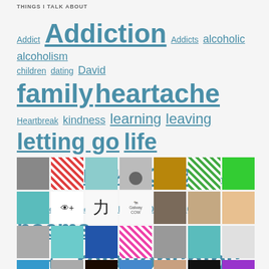THINGS I TALK ABOUT
[Figure (infographic): Tag cloud with words of varying sizes in teal/blue color, all underlined as links: Addict, Addiction, Addicts, alcoholic, alcoholism, children, dating, David, family, heartache, Heartbreak, kindness, learning, leaving, letting go, life, life hack, life hacks, love, lover, mental health, mental illness, moving on, Old Lovers, parenting, poems, poetry, relationships, thoughts, tough decisions]
[Figure (photo): Grid of approximately 28 small avatar/profile images arranged in 4 rows of 7, showing various user avatars including portraits, abstract patterns, logos, and decorative tiles]